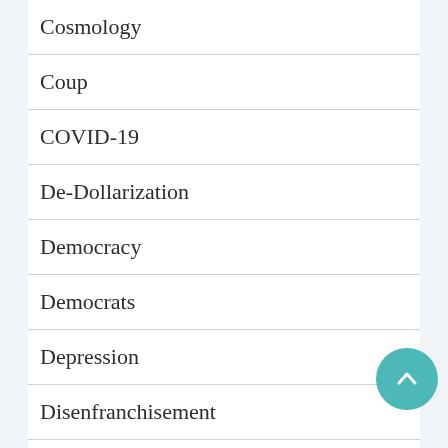Cosmology
Coup
COVID-19
De-Dollarization
Democracy
Democrats
Depression
Disenfranchisement
Douglas Macgregor
Drought
Economics